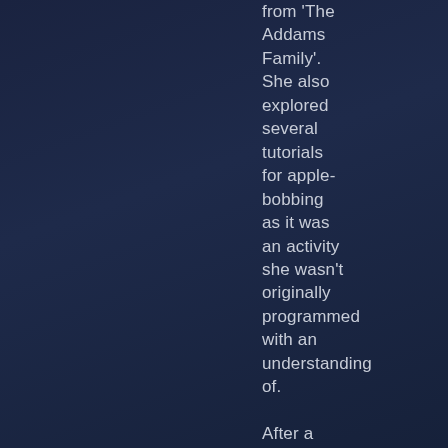from 'The Addams Family'. She also explored several tutorials for apple-bobbing as it was an activity she wasn't originally programmed with an understanding of.

After a small round of applause